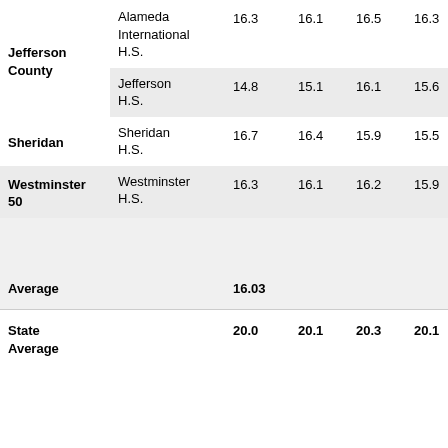|  |  | Col1 | Col2 | Col3 | Col4 |
| --- | --- | --- | --- | --- | --- |
| Jefferson County | Alameda International H.S. | 16.3 | 16.1 | 16.5 | 16.3 |
|  | Jefferson H.S. | 14.8 | 15.1 | 16.1 | 15.6 |
| Sheridan | Sheridan H.S. | 16.7 | 16.4 | 15.9 | 15.5 |
| Westminster 50 | Westminster H.S. | 16.3 | 16.1 | 16.2 | 15.9 |
| Average |  | 16.03 |  |  |  |
| State Average |  | 20.0 | 20.1 | 20.3 | 20.1 |